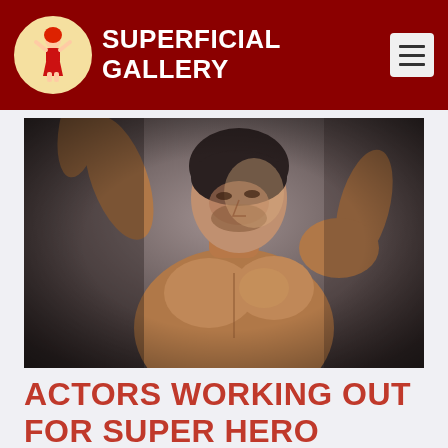SUPERFICIAL GALLERY
[Figure (photo): A muscular man with dark hair flexing and posing with arms raised, shirtless, dramatic lighting against a grey background]
ACTORS WORKING OUT FOR SUPER HERO ROLES